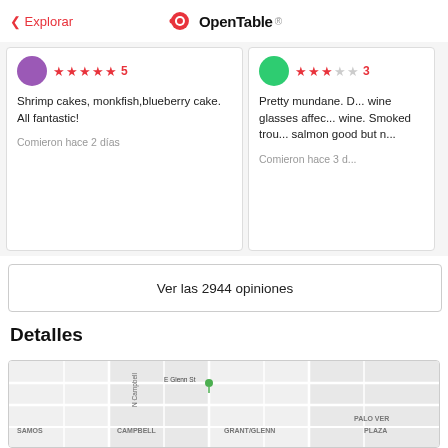< Explorar  OpenTable
Shrimp cakes, monkfish,blueberry cake. All fantastic!

Comieron hace 2 días
Pretty mundane. D... wine glasses affec... wine. Smoked trou... salmon good but n...

Comieron hace 3 d...
Ver las 2944 opiniones
Detalles
[Figure (map): Street map showing E Glenn St, N Campbell Ave, with neighborhood labels SAMOS, CAMPBELL, GRANT/GLENN, PALO VER(DE), PLAZA]